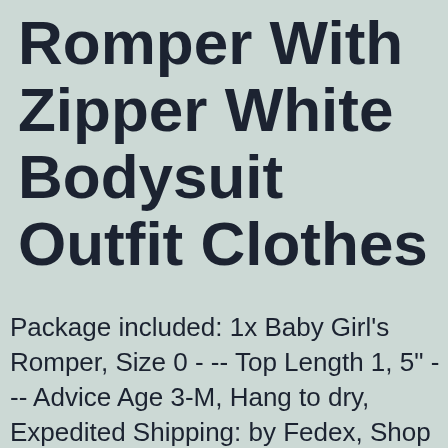Romper With Zipper White Bodysuit Outfit Clothes
Package included: 1x Baby Girl's Romper, Size 0 - -- Top Length 1, 5" --- Advice Age 3-M, Hang to dry, Expedited Shipping: by Fedex, Shop Honganda Newborn Infant Baby Girl Ruffle Sleeve Lace Romper with Zipper White Bodysuit Outfit